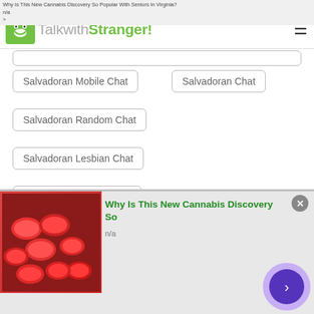Why Is This New Cannabis Discovery So Popular With Seniors In Virginia?
n/a
>
TalkwithStranger!
Salvadoran Mobile Chat
Salvadoran Chat
Salvadoran Random Chat
Salvadoran Lesbian Chat
Salvadoran Singles Chat
Salvadoran Chat Random
Salvadoran Chit Chat with Strangers
Salvadoran Chat With Girls
Salvadoran Chat With Strangers
[Figure (screenshot): Bottom advertisement banner: Why Is This New Cannabis Discovery So Popular - image of red gummy candies, with close X button and purple arrow navigation button]